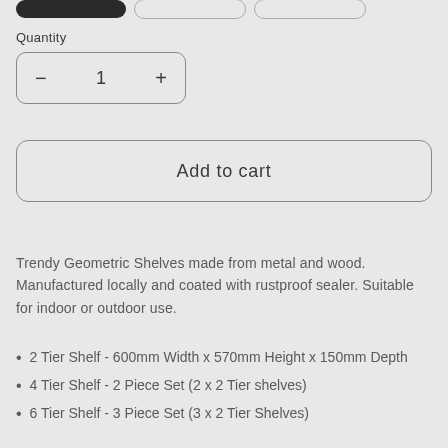[Figure (other): Three buttons at top: one dark/filled pill button and two outlined pill buttons]
Quantity
[Figure (other): Quantity selector box with minus button, number 1, and plus button]
[Figure (other): Add to cart button (large outlined rounded rectangle)]
Trendy Geometric Shelves made from metal and wood. Manufactured locally and coated with rustproof sealer. Suitable for indoor or outdoor use.
2 Tier Shelf - 600mm Width x 570mm Height x 150mm Depth
4 Tier Shelf - 2 Piece Set (2 x 2 Tier shelves)
6 Tier Shelf - 3 Piece Set (3 x 2 Tier Shelves)